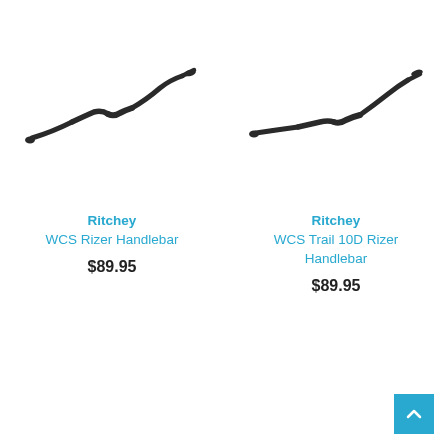[Figure (photo): Ritchey WCS Rizer Handlebar product photo - dark colored riser handlebar angled view]
Ritchey
WCS Rizer Handlebar
$89.95
[Figure (photo): Ritchey WCS Trail 10D Rizer Handlebar product photo - dark colored riser handlebar angled view]
Ritchey
WCS Trail 10D Rizer Handlebar
$89.95